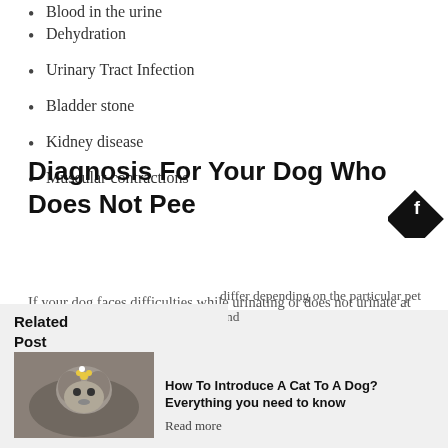Blood in the urine
Dehydration
Urinary Tract Infection
Bladder stone
Kidney disease
Muscular contractions
Diagnosis For Your Dog Who Does Not Pee
[Figure (logo): Facebook icon in a black diamond shape]
If your dog faces difficulties while urinating or does not urinate at all, your veterinarian may conduct tests such as urinalysis, urine culture, blood work, x-rays, and ultrasound.
differ depending on the particular pet and
Related Post
[Figure (photo): Photo of a dog lying in grass]
How To Introduce A Cat To A Dog? Everything you need to know
Read more